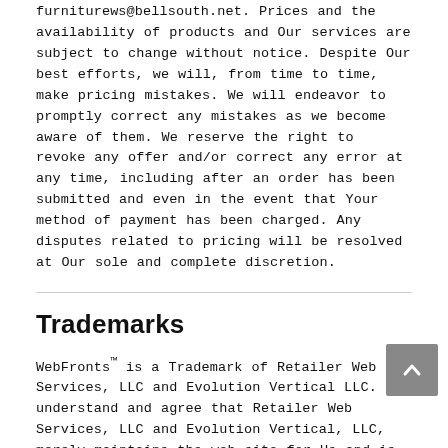furniturews@bellsouth.net. Prices and the availability of products and Our services are subject to change without notice. Despite Our best efforts, we will, from time to time, make pricing mistakes. We will endeavor to promptly correct any mistakes as we become aware of them. We reserve the right to revoke any offer and/or correct any error at any time, including after an order has been submitted and even in the event that Your method of payment has been charged. Any disputes related to pricing will be resolved at Our sole and complete discretion.
Trademarks
WebFronts™ is a Trademark of Retailer Web Services, LLC and Evolution Vertical LLC. You understand and agree that Retailer Web Services, LLC and Evolution Vertical, LLC, merely maintains the web site for Us and is not a party to this contract.
WARRANTIES